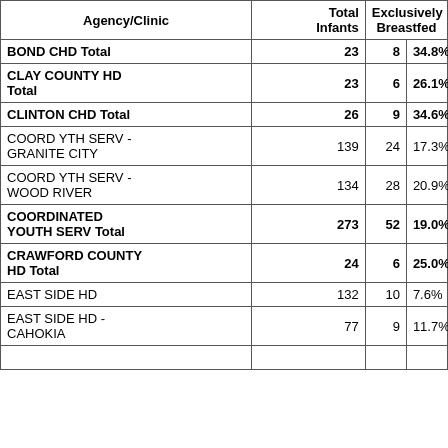| Agency/Clinic | Total Infants | Exclusively Breastfed |  |
| --- | --- | --- | --- |
| BOND CHD Total | 23 | 8 | 34.8% |
| CLAY COUNTY HD Total | 23 | 6 | 26.1% |
| CLINTON CHD Total | 26 | 9 | 34.6% |
| COORD YTH SERV - GRANITE CITY | 139 | 24 | 17.3% |
| COORD YTH SERV - WOOD RIVER | 134 | 28 | 20.9% |
| COORDINATED YOUTH SERV Total | 273 | 52 | 19.0% |
| CRAWFORD COUNTY HD Total | 24 | 6 | 25.0% |
| EAST SIDE HD | 132 | 10 | 7.6% |
| EAST SIDE HD - CAHOKIA | 77 | 9 | 11.7% |